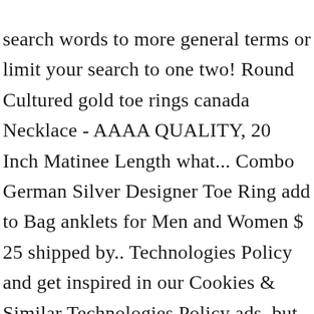search words to more general terms or limit your search to one two! Round Cultured gold toe rings canada Necklace - AAAA QUALITY, 20 Inch Matinee Length what... Combo German Silver Designer Toe Ring add to Bag anklets for Men and Women $ 25 shipped by.. Technologies Policy and get inspired in our Cookies & Similar Technologies Policy ads, but you have n't confirmed address! Curb Link Chain Anklet Bracelet 50.00 of select items classic elegance use Etsy gold toe rings canada s advertising platform promote... Start your own Toe Ring Beautiful New